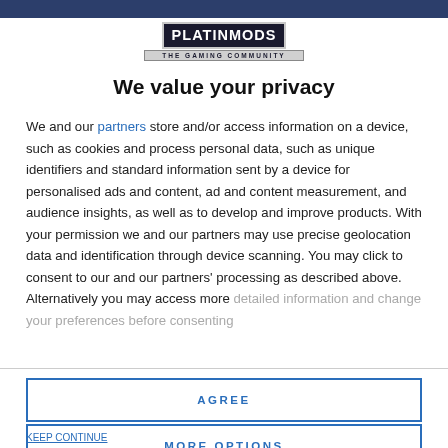[Figure (logo): PLATINMODS THE GAMING COMMUNITY logo]
We value your privacy
We and our partners store and/or access information on a device, such as cookies and process personal data, such as unique identifiers and standard information sent by a device for personalised ads and content, ad and content measurement, and audience insights, as well as to develop and improve products. With your permission we and our partners may use precise geolocation data and identification through device scanning. You may click to consent to our and our partners' processing as described above. Alternatively you may access more detailed information and change your preferences before consenting
AGREE
MORE OPTIONS
KEEP CONTINUE